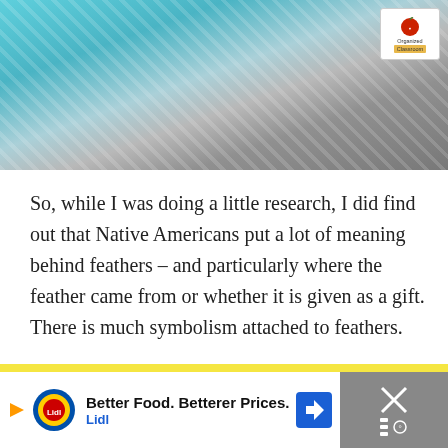[Figure (photo): Partial view of a decorative photo featuring teal/turquoise patterned paper and feathers on a wooden surface, with an Organized Classroom logo badge in the top right corner.]
So, while I was doing a little research, I did find out that Native Americans put a lot of meaning behind feathers – and particularly where the feather came from or whether it is given as a gift.  There is much symbolism attached to feathers.
What a fun lesson to learn even more about this group of people!
[Figure (screenshot): Advertisement banner for Lidl: 'Better Food. Betterer Prices.' with Lidl logo, play arrow, navigation arrow icon, and a close (X) button on a black background.]